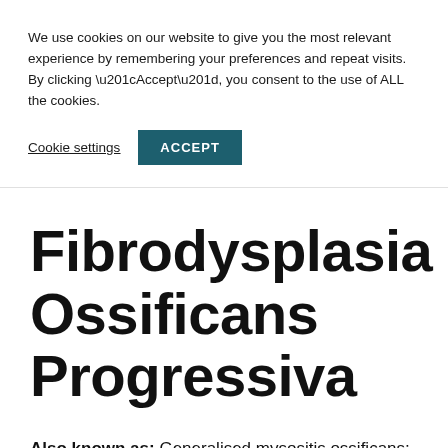We use cookies on our website to give you the most relevant experience by remembering your preferences and repeat visits. By clicking “Accept”, you consent to the use of ALL the cookies.
Cookie settings  ACCEPT
Fibrodysplasia Ossificans Progressiva
Also known as: Generalised mysositis ossificans; Myositis